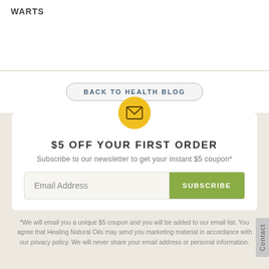WARTS
BACK TO HEALTH BLOG
$5 OFF YOUR FIRST ORDER
Subscribe to our newsletter to get your instant $5 coupon*
Email Address
SUBSCRIBE
*We will email you a unique $5 coupon and you will be added to our email list. You agree that Healing Natural Oils may send you marketing material in accordance with our privacy policy. We will never share your email address or personal information.